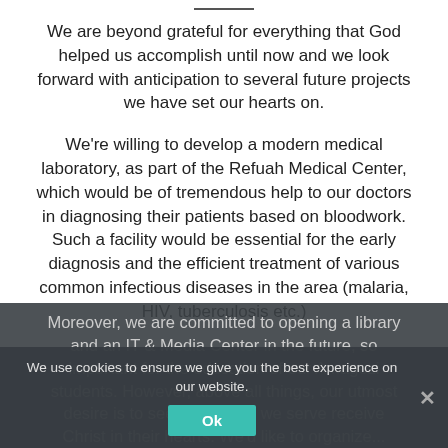We are beyond grateful for everything that God helped us accomplish until now and we look forward with anticipation to several future projects we have set our hearts on.
We're willing to develop a modern medical laboratory, as part of the Refuah Medical Center, which would be of tremendous help to our doctors in diagnosing their patients based on bloodwork. Such a facility would be essential for the early diagnosis and the efficient treatment of various common infectious diseases in the area (malaria, HIV, tuberculosis etc.)
Moreover, we are committed to opening a library and an IT & Media Center in the future, so important for the education of our Amagezi students. However, above all things, our utmost desire is to see the people we serve receive Christ in their hearts. We'd like to organize...
We use cookies to ensure we give you the best experience on our website.